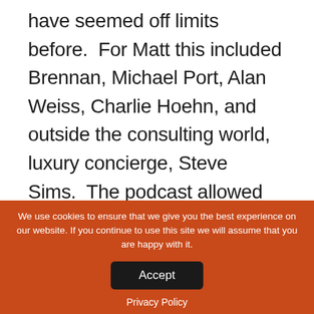have seemed off limits before. For Matt this included Brennan, Michael Port, Alan Weiss, Charlie Hoehn, and outside the consulting world, luxury concierge, Steve Sims. The podcast allowed him to have in-depth conversations with these giants and to stay in touch with them afterwards. As the rapport built, Matt's guests started making suggestions and introductions of people who
We use cookies to ensure that we give you the best experience on our website. If you continue to use this site we will assume that you are happy with it.
Accept
Privacy Policy